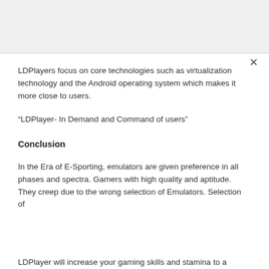LDPlayers focus on core technologies such as virtualization technology and the Android operating system which makes it more close to users.
“LDPlayer- In Demand and Command of users”
Conclusion
In the Era of E-Sporting, emulators are given preference in all phases and spectra. Gamers with high quality and aptitude. They creep due to the wrong selection of Emulators. Selection of
LDPlayer will increase your gaming skills and stamina to a